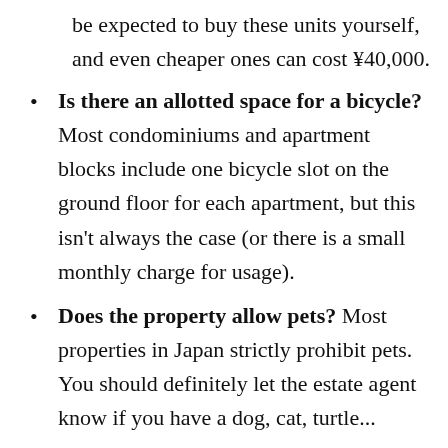be expected to buy these units yourself, and even cheaper ones can cost ¥40,000.
Is there an allotted space for a bicycle? Most condominiums and apartment blocks include one bicycle slot on the ground floor for each apartment, but this isn't always the case (or there is a small monthly charge for usage).
Does the property allow pets? Most properties in Japan strictly prohibit pets. You should definitely let the estate agent know if you have a dog, cat, turtle...
Regrettably, is it is sometimes the case that the owner of the property will not accept applications